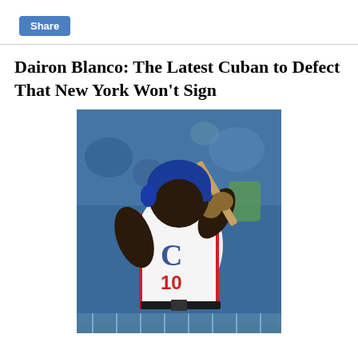Share
Dairon Blanco: The Latest Cuban to Defect That New York Won't Sign
[Figure (photo): Baseball player wearing white uniform with number 10 and a blue 'C' logo, blue helmet, mid-swing with a bat, crowd visible in background]